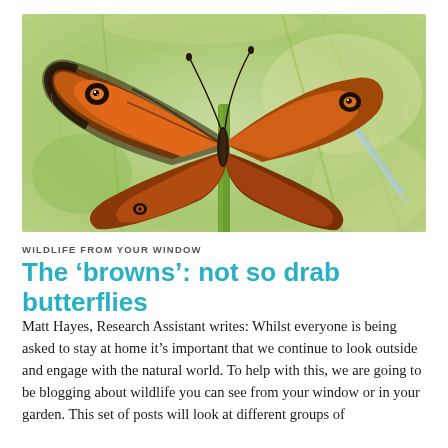[Figure (photo): Close-up photograph of a brown butterfly (likely a Meadow Brown or Gatekeeper) with orange and brown patterned wings, perched on a green stem against a blurred green background. The wings display distinctive eyespot markings.]
WILDLIFE FROM YOUR WINDOW
The ‘browns’: not so drab butterflies
Matt Hayes, Research Assistant writes: Whilst everyone is being asked to stay at home it’s important that we continue to look outside and engage with the natural world. To help with this, we are going to be blogging about wildlife you can see from your window or in your garden. This set of posts will look at different groups of